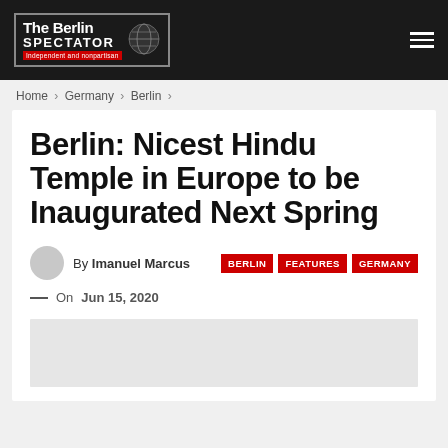The Berlin SPECTATOR — Independent and nonpartisan
Home > Germany > Berlin >
Berlin: Nicest Hindu Temple in Europe to be Inaugurated Next Spring
By Imanuel Marcus
BERLIN   FEATURES   GERMANY
On Jun 15, 2020
[Figure (photo): Image placeholder at bottom of article card]